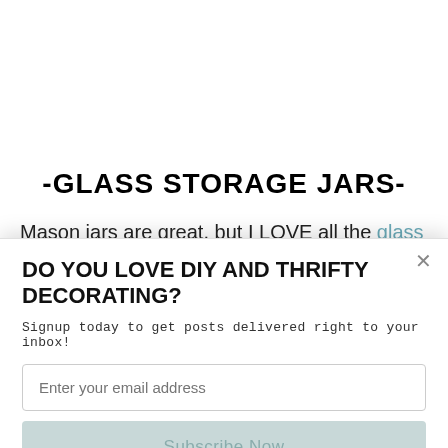-GLASS STORAGE JARS-
Mason jars are great, but I LOVE all the glass storage jars Dollar Tree offers.   They have a variety of styles and sizes that are perfect for everything from organizing small craft supplies to
[Figure (logo): SUMO badge/widget logo with crown icon]
DO YOU LOVE DIY AND THRIFTY DECORATING?
Signup today to get posts delivered right to your inbox!
Enter your email address
Subscribe Now